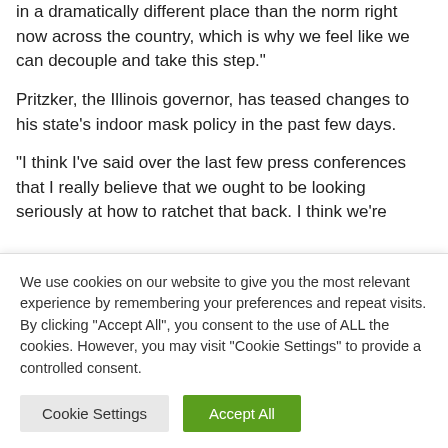in a dramatically different place than the norm right now across the country, which is why we feel like we can decouple and take this step."
Pritzker, the Illinois governor, has teased changes to his state's indoor mask policy in the past few days.
“I think I’ve said over the last few press conferences that I really believe that we ought to be looking seriously at how to ratchet that back. I think we’re going to be making announcements very soon about that,” Pritzker said at an
We use cookies on our website to give you the most relevant experience by remembering your preferences and repeat visits. By clicking “Accept All”, you consent to the use of ALL the cookies. However, you may visit "Cookie Settings" to provide a controlled consent.